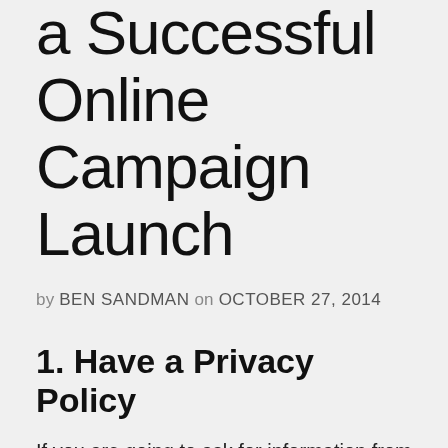a Successful Online Campaign Launch
by BEN SANDMAN on OCTOBER 27, 2014
1. Have a Privacy Policy
If you are going to ask for information from a prospect, make sure you have a proper Privacy Policy in place. This will tell the prospect what you intend to do with their information, what tracking you have in place on your